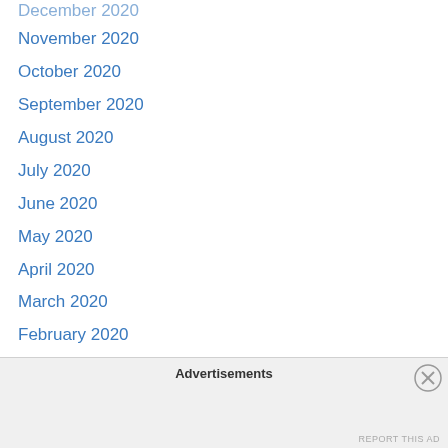December 2020
November 2020
October 2020
September 2020
August 2020
July 2020
June 2020
May 2020
April 2020
March 2020
February 2020
January 2020
December 2019
November 2019
October 2019
September 2019
August 2019
Advertisements
REPORT THIS AD